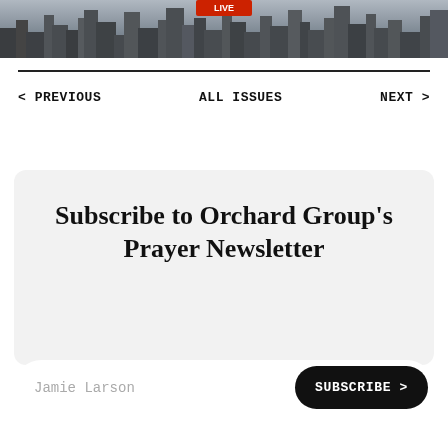[Figure (photo): City skyline photograph showing tall buildings against a grey sky]
< PREVIOUS    ALL ISSUES    NEXT >
Subscribe to Orchard Group's Prayer Newsletter
Jamie Larson    SUBSCRIBE >